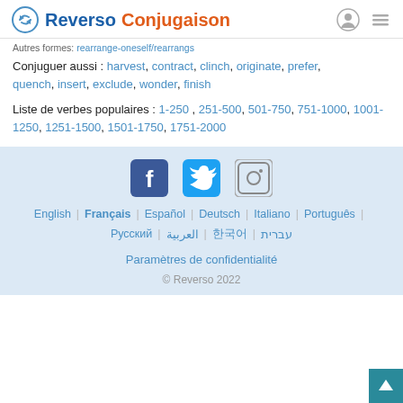Reverso Conjugaison
Autres formes: rearrange-oneself/rearrangs
Conjuguer aussi : harvest, contract, clinch, originate, prefer, quench, insert, exclude, wonder, finish
Liste de verbes populaires : 1-250 , 251-500 , 501-750 , 751-1000 , 1001-1250 , 1251-1500 , 1501-1750 , 1751-2000
[Figure (logo): Social media icons: Facebook, Twitter, Instagram]
English | Français | Español | Deutsch | Italiano | Português | Русский | العربية | 한국어 | עברית
Paramètres de confidentialité
© Reverso 2022